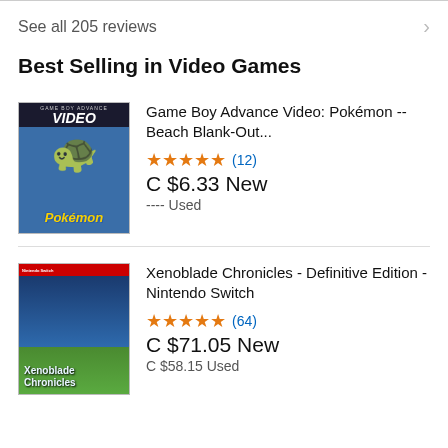See all 205 reviews
Best Selling in Video Games
[Figure (photo): Game Boy Advance Video: Pokémon cartridge box art with Blastoise]
Game Boy Advance Video: Pokémon -- Beach Blank-Out...
★★★★★ (12)
C $6.33 New
---- Used
[Figure (photo): Xenoblade Chronicles Definitive Edition Nintendo Switch box art]
Xenoblade Chronicles - Definitive Edition - Nintendo Switch
★★★★★ (64)
C $71.05 New
C $58.15 Used